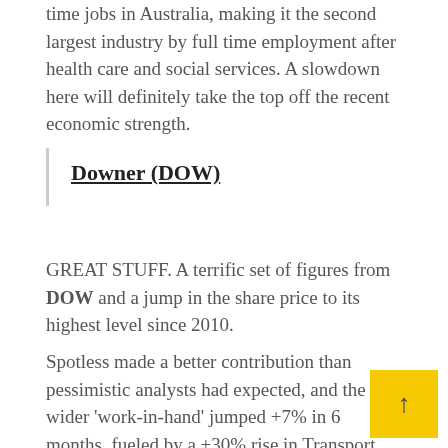time jobs in Australia, making it the second largest industry by full time employment after health care and social services. A slowdown here will definitely take the top off the recent economic strength.
Downer (DOW)
GREAT STUFF. A terrific set of figures from DOW and a jump in the share price to its highest level since 2010.
Spotless made a better contribution than pessimistic analysts had expected, and the gro wider 'work-in-hand' jumped +7% in 6 months, fueled by a +30% rise in Transport work, a +40%